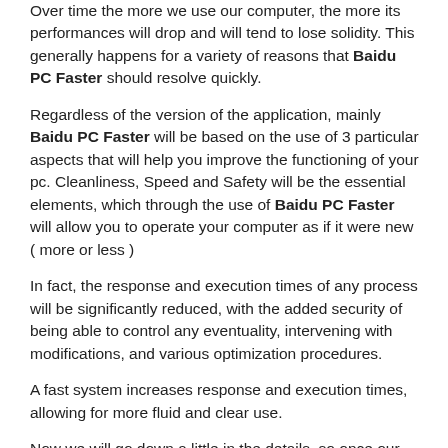Over time the more we use our computer, the more its performances will drop and will tend to lose solidity. This generally happens for a variety of reasons that Baidu PC Faster should resolve quickly.
Regardless of the version of the application, mainly Baidu PC Faster will be based on the use of 3 particular aspects that will help you improve the functioning of your pc. Cleanliness, Speed and Safety will be the essential elements, which through the use of Baidu PC Faster will allow you to operate your computer as if it were new ( more or less )
In fact, the response and execution times of any process will be significantly reduced, with the added security of being able to control any eventuality, intervening with modifications, and various optimization procedures.
A fast system increases response and execution times, allowing for more fluid and clear use.
Now we will go down a little in the details, so once our software has been downloaded and installed, Baidu PC Faster will provide us with a series of modules, and our task will only be to choose the module that will